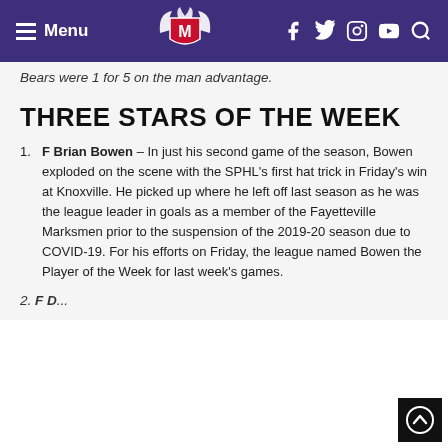Menu [logo] f y Instagram YouTube Search
Bears were 1 for 5 on the man advantage.
THREE STARS OF THE WEEK
F Brian Bowen – In just his second game of the season, Bowen exploded on the scene with the SPHL's first hat trick in Friday's win at Knoxville. He picked up where he left off last season as he was the league leader in goals as a member of the Fayetteville Marksmen prior to the suspension of the 2019-20 season due to COVID-19. For his efforts on Friday, the league named Bowen the Player of the Week for last week's games.
2. F D...  – Bowen also...